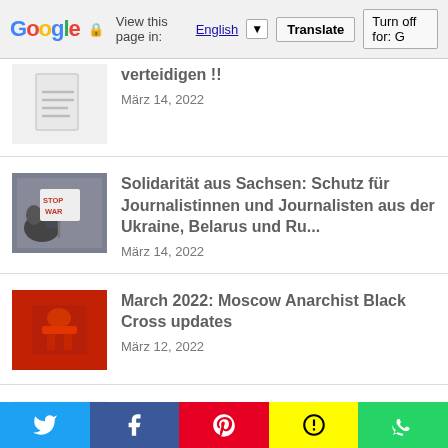Google — View this page in: English [▼] [Translate] Turn off for: G
verteidigen !!
März 14, 2022
[Figure (photo): Protest photo showing people holding a STOP WAR sign]
Solidarität aus Sachsen: Schutz für Journalistinnen und Journalisten aus der Ukraine, Belarus und Ru...
März 14, 2022
[Figure (photo): Red-toned artistic image related to Moscow Anarchist Black Cross]
March 2022: Moscow Anarchist Black Cross updates
März 12, 2022
[Figure (illustration): Document placeholder icon]
Gemeinsames Thesenpapier gegen die Repression – Weg mit
Twitter | Facebook | Pinterest | Snapchat | WhatsApp